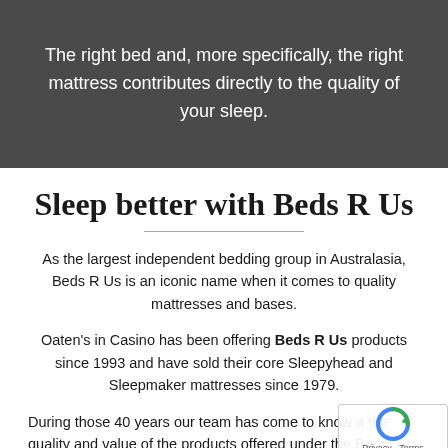The right bed and, more specifically, the right mattress contributes directly to the quality of your sleep.
Sleep better with Beds R Us
As the largest independent bedding group in Australasia, Beds R Us is an iconic name when it comes to quality mattresses and bases.
Oaten's in Casino has been offering Beds R Us products since 1993 and have sold their core Sleepyhead and Sleepmaker mattresses since 1979.
During those 40 years our team has come to know a the quality and value of the products offered under the Beds